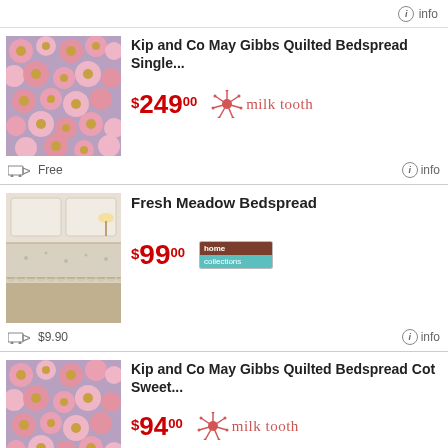info
[Figure (photo): Kip and Co May Gibbs quilted bedspread with floral pink pattern]
Kip and Co May Gibbs Quilted Bedspread Single...
$249.00
[Figure (logo): milk tooth logo with sunburst icon]
Free
info
[Figure (photo): Fresh Meadow Bedspread on a bed]
Fresh Meadow Bedspread
$99.00
[Figure (logo): home collections logo]
$9.90
info
[Figure (photo): Kip and Co May Gibbs quilted bedspread cot with floral pink pattern]
Kip and Co May Gibbs Quilted Bedspread Cot Sweet...
$94.00
[Figure (logo): milk tooth logo with sunburst icon]